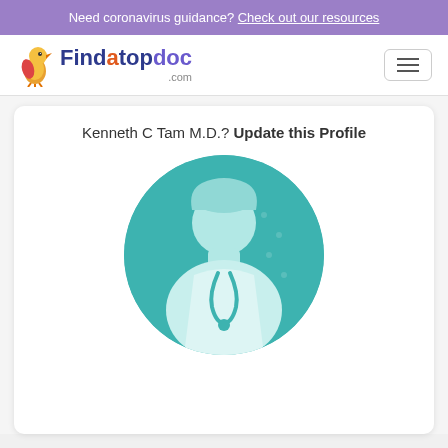Need coronavirus guidance? Check out our resources
[Figure (logo): Findatopdoc.com logo with bird mascot]
[Figure (other): Hamburger menu icon button]
Kenneth C Tam M.D.? Update this Profile
[Figure (illustration): Generic doctor profile silhouette illustration in teal circle]